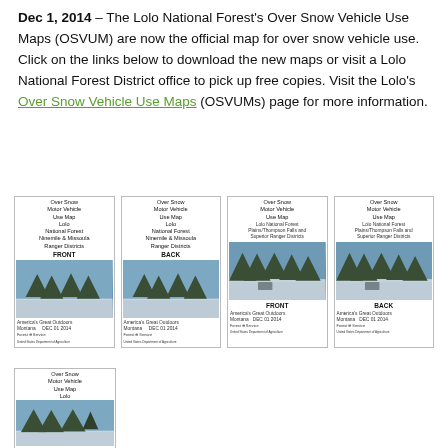Dec 1, 2014 – The Lolo National Forest's Over Snow Vehicle Use Maps (OSVUM) are now the official map for over snow vehicle use. Click on the links below to download the new maps or visit a Lolo National Forest District office to pick up free copies. Visit the Lolo's Over Snow Vehicle Use Maps (OSVUMs) page for more information.
[Figure (photo): Four map cover thumbnails arranged in a row showing Over Snow Motor Vehicle Use Maps for Lolo National Forest. First two covers are for Ninemile & Missoula Ranger Districts (FRONT and BACK), last two are for Plains/Thompson Falls and Superior Ranger Districts (FRONT and BACK). Each shows a snowy winter forest scene.]
[Figure (photo): A fifth partial map card visible at the bottom, showing Over Snow Motor Vehicle Use Map, Lolo (partial view).]